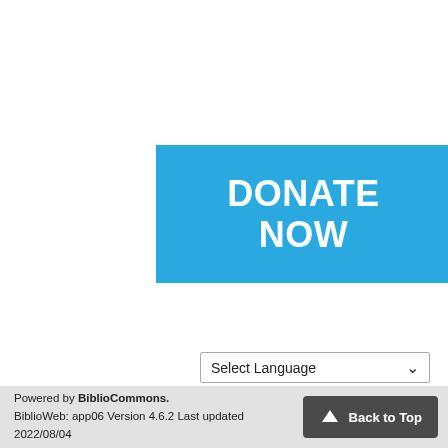[Figure (other): Blue 'DONATE NOW' button with white bold text on a solid blue (#29a9e0) background rectangle]
[Figure (other): Google Translate language selector widget with 'Select Language' dropdown and 'Powered by Google Translate' text below]
Terms of Use   Privacy Statement   Accessibility Statement
© 2022 Edmonton Public Library
Powered by BiblioCommons.
BiblioWeb: app06 Version 4.6.2 Last updated 2022/08/04